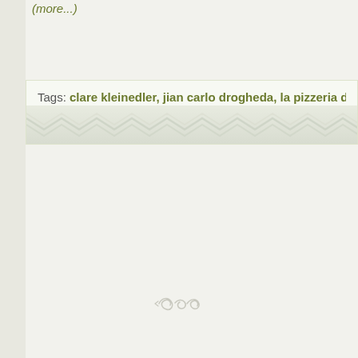(more...)
Tags: clare kleinedler, jian carlo drogheda, la pizzeria drogheda, pizza drog...
[Figure (illustration): Zigzag/chevron decorative pattern at the bottom of the tags box, light gray/green tones]
[Figure (illustration): Small decorative swirl/flourish graphic in light gray, centered on lower portion of page]